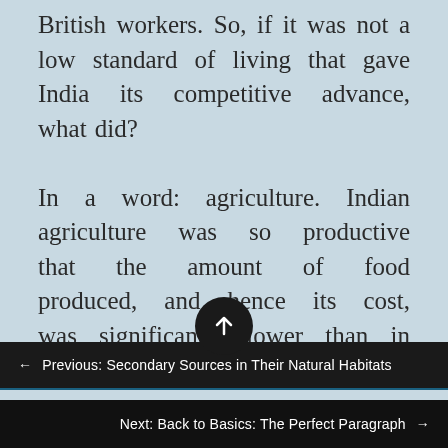British workers. So, if it was not a low standard of living that gave India its competitive advance, what did? In a word: agriculture. Indian agriculture was so productive that the amount of food produced, and hence its cost, was significantly lower than in Europe. In the preindustrial age, when working families spent 60-80 percent of their earnings on food, the cost of food was the primary determinant of their real
← Previous: Secondary Sources in Their Natural Habitats
Next: Back to Basics: The Perfect Paragraph →